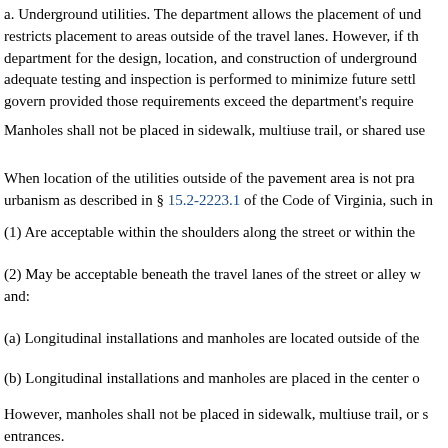a. Underground utilities. The department allows the placement of und... restricts placement to areas outside of the travel lanes. However, if th... department for the design, location, and construction of underground... adequate testing and inspection is performed to minimize future settl... govern provided those requirements exceed the department's require...
Manholes shall not be placed in sidewalk, multiuse trail, or shared use...
When location of the utilities outside of the pavement area is not pra... urbanism as described in § 15.2-2223.1 of the Code of Virginia, such in...
(1) Are acceptable within the shoulders along the street or within the...
(2) May be acceptable beneath the travel lanes of the street or alley w... and:
(a) Longitudinal installations and manholes are located outside of the...
(b) Longitudinal installations and manholes are placed in the center o...
However, manholes shall not be placed in sidewalk, multiuse trail, or s... entrances.